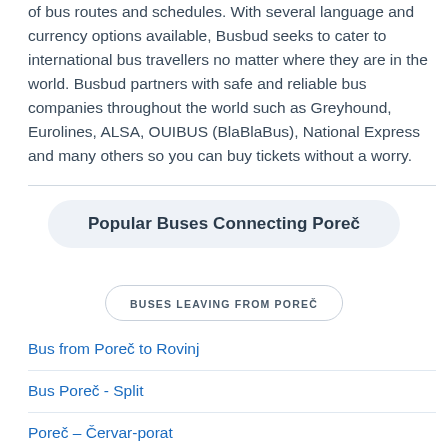of bus routes and schedules. With several language and currency options available, Busbud seeks to cater to international bus travellers no matter where they are in the world. Busbud partners with safe and reliable bus companies throughout the world such as Greyhound, Eurolines, ALSA, OUIBUS (BlaBlaBus), National Express and many others so you can buy tickets without a worry.
Popular Buses Connecting Poreč
BUSES LEAVING FROM POREČ
Bus from Poreč to Rovinj
Bus Poreč - Split
Poreč – Červar-porat